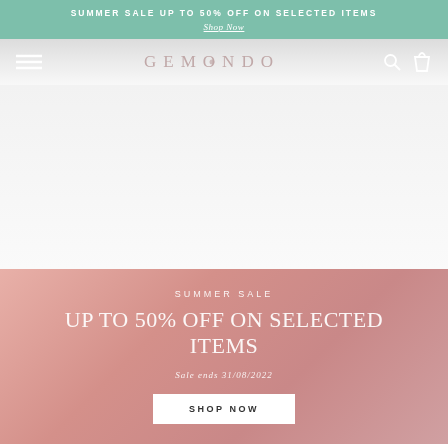SUMMER SALE UP TO 50% OFF ON SELECTED ITEMS
Shop Now
[Figure (screenshot): Gemondo jewellery website navigation bar with hamburger menu, GEMONDO logo, search and cart icons on a grey gradient background]
[Figure (photo): Main hero image area - white/light grey background, partially loaded jewellery product image]
SUMMER SALE
UP TO 50% OFF ON SELECTED ITEMS
Sale ends 31/08/2022
SHOP NOW